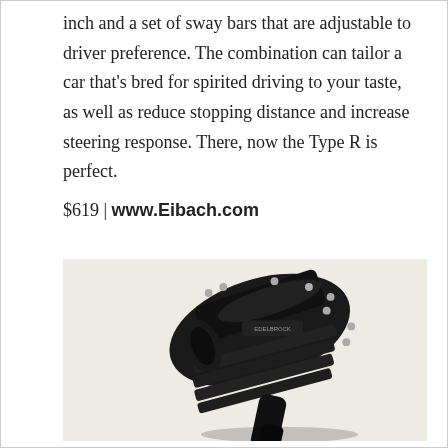inch and a set of sway bars that are adjustable to driver preference. The combination can tailor a car that's bred for spirited driving to your taste, as well as reduce stopping distance and increase steering response. There, now the Type R is perfect.
$619 | www.Eibach.com
[Figure (photo): Photo of a black automotive supercharger or engine component assembly on a light background, shown at an angle.]